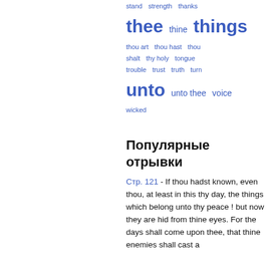[Figure (infographic): Word cloud in blue showing: stand, strength, thanks, thee (large), thine, things (large), thou art, thou hast, thou shalt, thy holy, tongue, trouble, trust, truth, turn, unto (large), unto thee, voice, wicked]
Популярные отрывки
Стр. 121 - If thou hadst known, even thou, at least in this thy day, the things which belong unto thy peace ! but now they are hid from thine eyes. For the days shall come upon thee, that thine enemies shall cast a